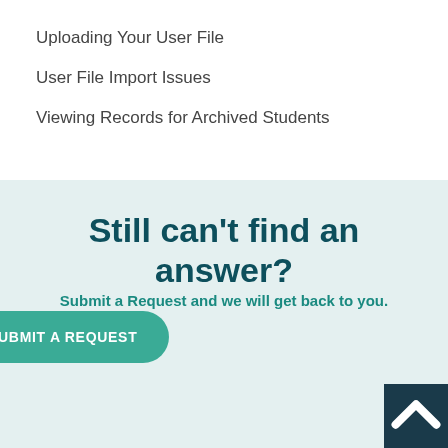Uploading Your User File
User File Import Issues
Viewing Records for Archived Students
Still can't find an answer?
Submit a Request and we will get back to you.
SUBMIT A REQUEST